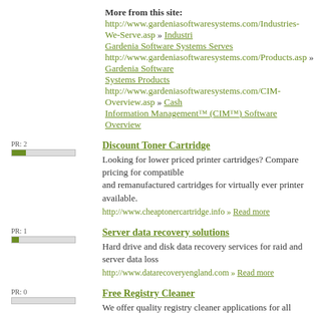More from this site:
http://www.gardeniasoftwaresystems.com/Industries-We-Serve.asp » Industries Gardenia Software Systems Serves
http://www.gardeniasoftwaresystems.com/Products.asp » Gardenia Software Systems Products
http://www.gardeniasoftwaresystems.com/CIM-Overview.asp » Cash Information Management™ (CIM™) Software Overview
PR: 2 — Discount Toner Cartridge — Looking for lower priced printer cartridges? Compare pricing for compatible and remanufactured cartridges for virtually ever printer available. http://www.cheaptonercartridge.info » Read more
PR: 1 — Server data recovery solutions — Hard drive and disk data recovery services for raid and server data loss http://www.datarecoveryengland.com » Read more
PR: 0 — Free Registry Cleaner — We offer quality registry cleaner applications for all computer users plus more detailed information on the structure of the windows registry. http://www.freewindowregistrycleaner.com/ » Read more
N/A — ZynoHost — ZynoHost is one of the leading web hosting companies in India offering high quality web services backed by 24/7 technical support. http://www.zynohost.in/ » Read more
N/A — Zenoti Software